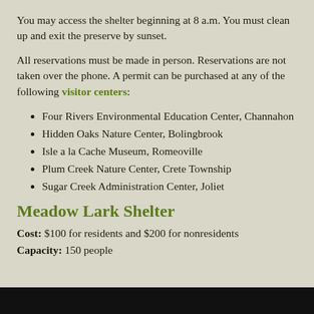You may access the shelter beginning at 8 a.m. You must clean up and exit the preserve by sunset.
All reservations must be made in person. Reservations are not taken over the phone. A permit can be purchased at any of the following visitor centers:
Four Rivers Environmental Education Center, Channahon
Hidden Oaks Nature Center, Bolingbrook
Isle a la Cache Museum, Romeoville
Plum Creek Nature Center, Crete Township
Sugar Creek Administration Center, Joliet
Meadow Lark Shelter
Cost: $100 for residents and $200 for nonresidents
Capacity: 150 people
[Figure (photo): Dark/black photo bar at the bottom of the page]